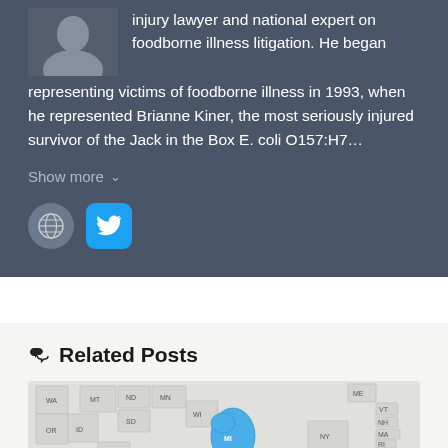injury lawyer and national expert on foodborne illness litigation. He began representing victims of foodborne illness in 1993, when he represented Brianne Kiner, the most seriously injured survivor of the Jack in the Box E. coli O157:H7...
Show more
[Figure (illustration): Globe/website icon (gray circle) and Twitter bird icon (blue rounded square)]
Related Posts
[Figure (map): Partial US map showing states including WA, OR, ID, MT, WY, ND, SD, MN, WI, MI (highlighted in blue), ME, VT, NH, MA, RI, CT, NY, NJ]